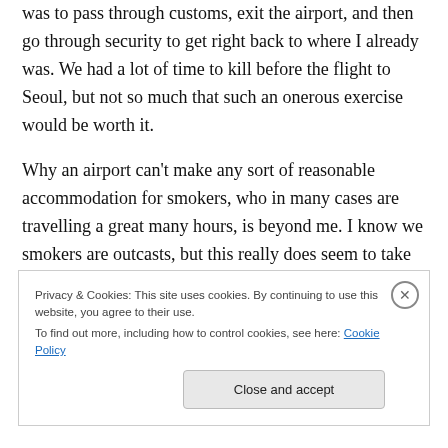was to pass through customs, exit the airport, and then go through security to get right back to where I already was. We had a lot of time to kill before the flight to Seoul, but not so much that such an onerous exercise would be worth it.
Why an airport can't make any sort of reasonable accommodation for smokers, who in many cases are travelling a great many hours, is beyond me. I know we smokers are outcasts, but this really does seem to take things a little too far. Add the ridiculous security
Privacy & Cookies: This site uses cookies. By continuing to use this website, you agree to their use.
To find out more, including how to control cookies, see here: Cookie Policy